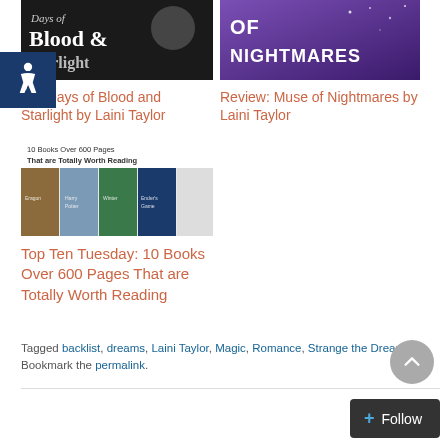[Figure (photo): Book cover for Days of Blood and Starlight by Laini Taylor - dark background with stylized text]
[Figure (photo): Book cover for Muse of Nightmares by Laini Taylor - purple/cosmic background with white text]
Review: Days of Blood and Starlight by Laini Taylor
Review: Muse of Nightmares by Laini Taylor
[Figure (photo): Collage image: 10 Books Over 600 Pages That are Totally Worth Reading - featuring multiple book covers]
Top Ten Tuesday: 10 Books Over 600 Pages That are Totally Worth Reading
Tagged backlist, dreams, Laini Taylor, Magic, Romance, Strange the Dreamer. Bookmark the permalink.
[Figure (other): Accessibility icon - blue square with wheelchair symbol]
[Figure (other): Back to top circular button]
[Figure (other): Follow button - dark rounded rectangle with plus icon]